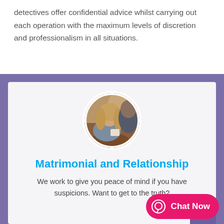detectives offer confidential advice whilst carrying out each operation with the maximum levels of discretion and professionalism in all situations.
[Figure (photo): Circular photo of a woman with long blonde hair holding a coffee cup, sitting at a table in a cafe setting]
Matrimonial and Relationship
We work to give you peace of mind if you have suspicions. Want to get to the truth?